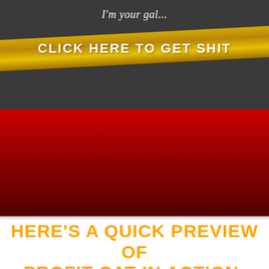I'm your gal...
[Figure (infographic): Gold diagonal banner with white bold text reading CLICK HERE TO GET SHIT on dark grey background]
[Figure (infographic): Red gradient section with dark crimson tones]
HERE'S A QUICK PREVIEW OF PROFIT CAT IN ACTION:
[Figure (screenshot): PODCAST banner image - partial screenshot showing black and white podcast graphic]